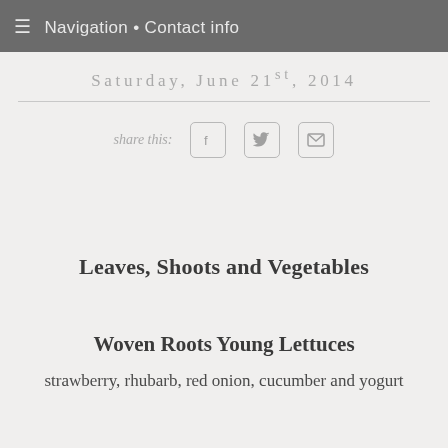≡ Navigation • Contact info
Saturday, June 21st, 2014
share this:
Leaves, Shoots and Vegetables
Woven Roots Young Lettuces
strawberry, rhubarb, red onion, cucumber and yogurt